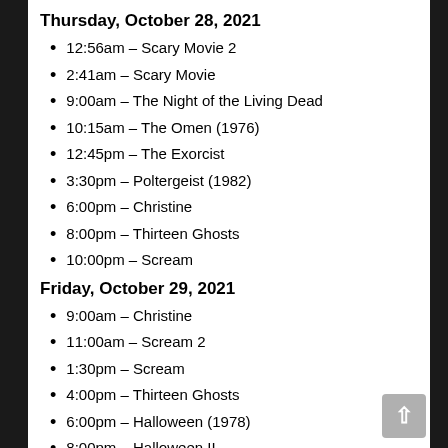Thursday, October 28, 2021
12:56am – Scary Movie 2
2:41am – Scary Movie
9:00am – The Night of the Living Dead
10:15am – The Omen (1976)
12:45pm – The Exorcist
3:30pm – Poltergeist (1982)
6:00pm – Christine
8:00pm – Thirteen Ghosts
10:00pm – Scream
Friday, October 29, 2021
9:00am – Christine
11:00am – Scream 2
1:30pm – Scream
4:00pm – Thirteen Ghosts
6:00pm – Halloween (1978)
8:00pm – Halloween II
11:00pm – Halloween H20: 20 Years Later